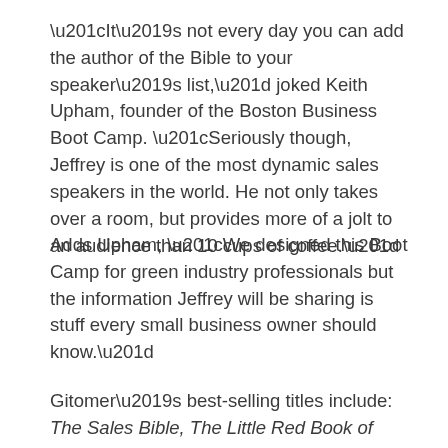“It’s not every day you can add the author of the Bible to your speaker’s list,” joked Keith Upham, founder of the Boston Business Boot Camp. “Seriously though, Jeffrey is one of the most dynamic sales speakers in the world. He not only takes over a room, but provides more of a jolt to an audience than 10 cups of coffee.”
Adds Upham, “We designed this Boot Camp for green industry professionals but the information Jeffrey will be sharing is stuff every small business owner should know.”
Gitomer’s best-selling titles include: The Sales Bible, The Little Red Book of Selling, The Little